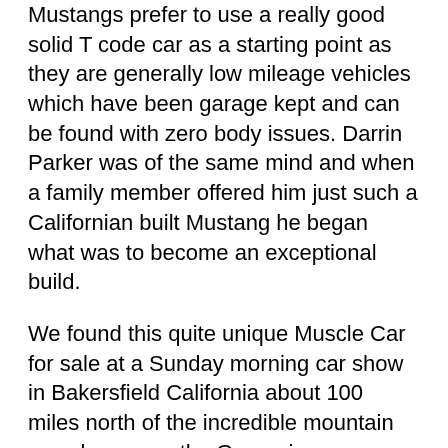Mustangs prefer to use a really good solid T code car as a starting point as they are generally low mileage vehicles which have been garage kept and can be found with zero body issues. Darrin Parker was of the same mind and when a family member offered him just such a Californian built Mustang he began what was to become an exceptional build.
We found this quite unique Muscle Car for sale at a Sunday morning car show in Bakersfield California about 100 miles north of the incredible mountain pass known as the Grapevine.
Chatting to Darrin was a real pleasure, he is a particularly nice kind of guy with an enthusiasm for special cars which has not dimmed over many years of building them, originally with his late father, (the Orange Stripe, in Sunset Pearl, is in honour of his Dad who drove a Chevy Bel Air in the same colour) and now as a